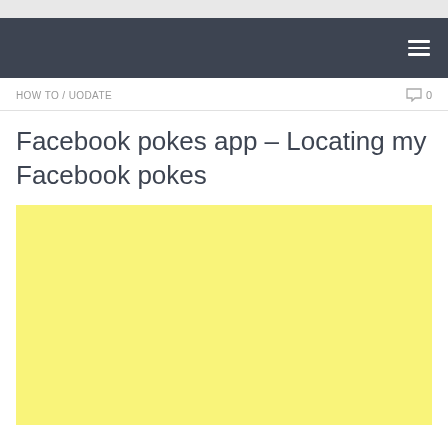HOW TO / UODATE
Facebook pokes app – Locating my Facebook pokes
[Figure (other): Yellow advertisement block placeholder]